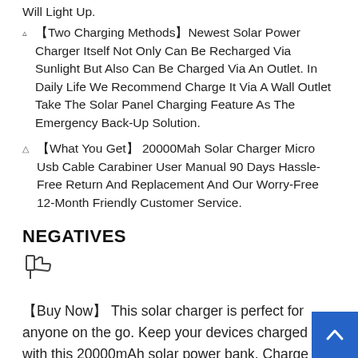Will Light Up.
【Two Charging Methods】Newest Solar Power Charger Itself Not Only Can Be Recharged Via Sunlight But Also Can Be Charged Via An Outlet. In Daily Life We Recommend Charge It Via A Wall Outlet Take The Solar Panel Charging Feature As The Emergency Back-Up Solution.
【What You Get】 20000Mah Solar Charger Micro Usb Cable Carabiner User Manual 90 Days Hassle-Free Return And Replacement And Our Worry-Free 12-Month Friendly Customer Service.
NEGATIVES
[Figure (illustration): Thumbs down icon]
【Buy Now】 This solar charger is perfect for anyone on the go. Keep your devices charged with this 20000mAh solar power bank. Charge it with the sun or an outlet, and have peace of mind with our worry-free 12-month friendly customer service.